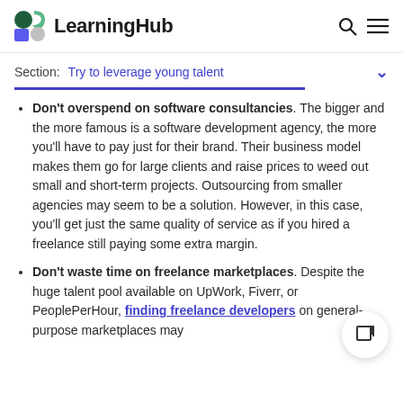LearningHub
Section: Try to leverage young talent
Don't overspend on software consultancies. The bigger and the more famous is a software development agency, the more you'll have to pay just for their brand. Their business model makes them go for large clients and raise prices to weed out small and short-term projects. Outsourcing from smaller agencies may seem to be a solution. However, in this case, you'll get just the same quality of service as if you hired a freelance still paying some extra margin.
Don't waste time on freelance marketplaces. Despite the huge talent pool available on UpWork, Fiverr, or PeoplePerHour, finding freelance developers on general-purpose marketplaces may